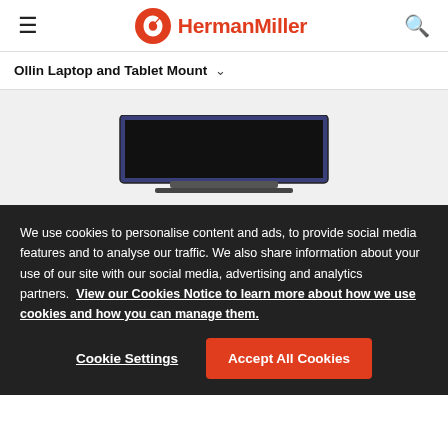HermanMiller
Ollin Laptop and Tablet Mount
[Figure (photo): Product photo of a laptop or tablet mount showing a dark blue/black laptop screen on a mount, partially visible, on a light grey background]
We use cookies to personalise content and ads, to provide social media features and to analyse our traffic. We also share information about your use of our site with our social media, advertising and analytics partners. View our Cookies Notice to learn more about how we use cookies and how you can manage them.
Cookie Settings
Accept All Cookies